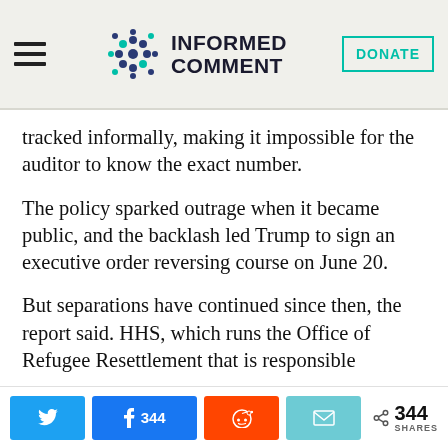INFORMED COMMENT
tracked informally, making it impossible for the auditor to know the exact number.
The policy sparked outrage when it became public, and the backlash led Trump to sign an executive order reversing course on June 20.
But separations have continued since then, the report said. HHS, which runs the Office of Refugee Resettlement that is responsible
344 SHARES